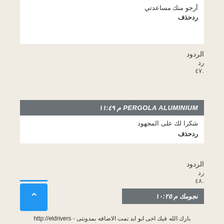أرجو منك مساعدتي
ردحذف
الردود
رد
.٤٧
PERGOLA ALUMINIUM م ١١:٤٩
شكرا لك على المجهود
ردحذف
الردود
رد
.٤٨
نجومك م ١٠:٢٥
بارك الله فيك اخى ابو ايد تمت الاضافه بمدونتى - http://eldrivers